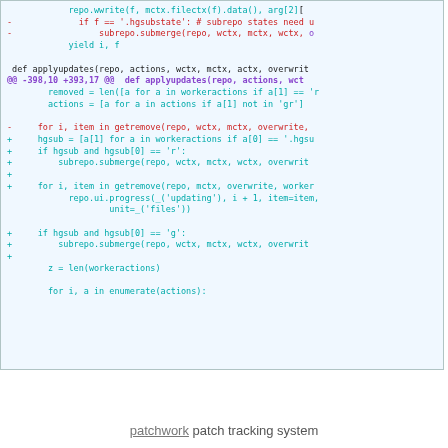[Figure (screenshot): Code diff screenshot showing changes to applyupdates function in a Python file, with colored diff lines (red for removed, teal/green for added, purple for hunk header). The code uses Courier monospace font on a light blue background.]
patchwork patch tracking system